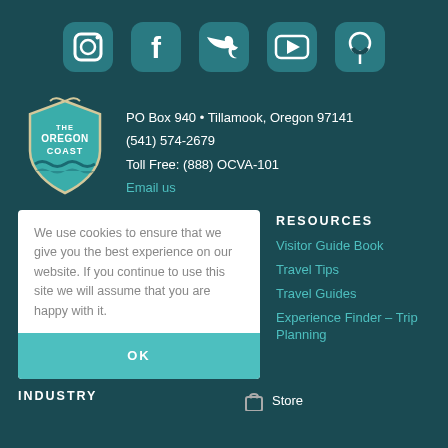[Figure (infographic): Social media icons row: Instagram, Facebook, Twitter, YouTube, Pinterest — all in teal/dark teal rounded square style]
[Figure (logo): The Oregon Coast badge/shield logo in teal with white text]
PO Box 940 • Tillamook, Oregon 97141
(541) 574-2679
Toll Free: (888) OCVA-101
Email us
We use cookies to ensure that we give you the best experience on our website. If you continue to use this site we will assume that you are happy with it.
OK
RESOURCES
Visitor Guide Book
Travel Tips
Travel Guides
Experience Finder – Trip Planning
INDUSTRY
Store